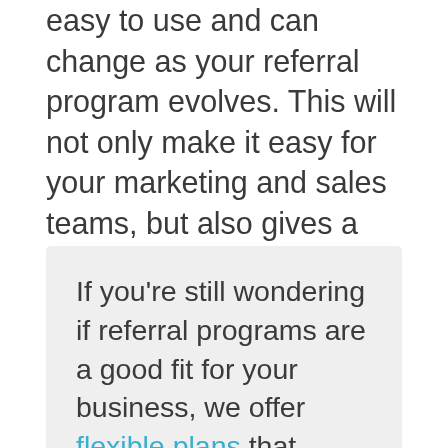easy to use and can change as your referral program evolves. This will not only make it easy for your marketing and sales teams, but also gives a seamless sharing experience for your existing customers and their friends.
If you're still wondering if referral programs are a good fit for your business, we offer flexible plans that adjust to your unique needs, and let you start building your program for free.